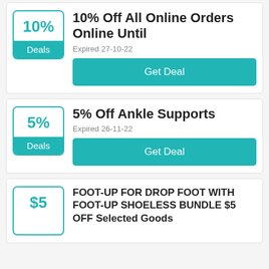10%
Deals
10% Off All Online Orders Online Until
Expired 27-10-22
Get Deal
5%
Deals
5% Off Ankle Supports
Expired 26-11-22
Get Deal
$5
FOOT-UP FOR DROP FOOT WITH FOOT-UP SHOELESS BUNDLE $5 OFF Selected Goods